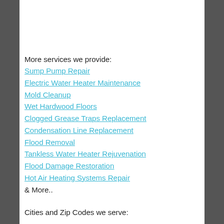More services we provide:
Sump Pump Repair
Electric Water Heater Maintenance
Mold Cleanup
Wet Hardwood Floors
Clogged Grease Traps Replacement
Condensation Line Replacement
Flood Removal
Tankless Water Heater Rejuvenation
Flood Damage Restoration
Hot Air Heating Systems Repair
& More..
Cities and Zip Codes we serve:
95817 , 95865 , 95693 , 95815 , 94206 , Roseville ,